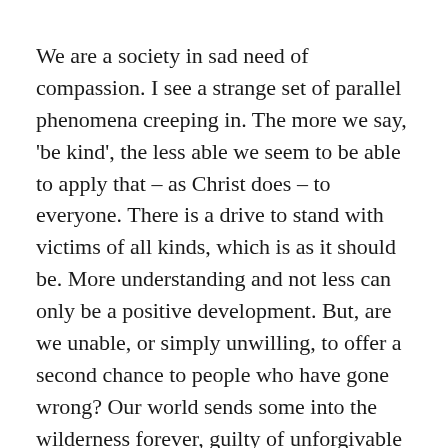We are a society in sad need of compassion. I see a strange set of parallel phenomena creeping in. The more we say, 'be kind', the less able we seem to be able to apply that – as Christ does – to everyone. There is a drive to stand with victims of all kinds, which is as it should be. More understanding and not less can only be a positive development. But, are we unable, or simply unwilling, to offer a second chance to people who have gone wrong? Our world sends some into the wilderness forever, guilty of unforgivable falls from grace in our eyes.
That's not how Christ deals with anyone. It's not how he dealt with me; it's not the example he set his followers.
He hung on a cross and endured the ultimate loneliness,